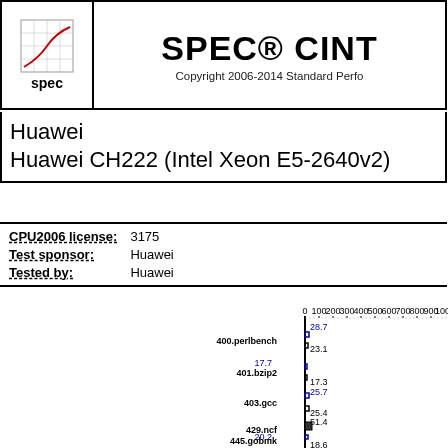SPEC® CINT
Copyright 2006-2014 Standard Perfo
Huawei
Huawei CH222 (Intel Xeon E5-2640v2)
| Field | Value |
| --- | --- |
| CPU2006 license: | 3175 |
| Test sponsor: | Huawei |
| Tested by: | Huawei |
[Figure (bar-chart): CINT2006 benchmark results]